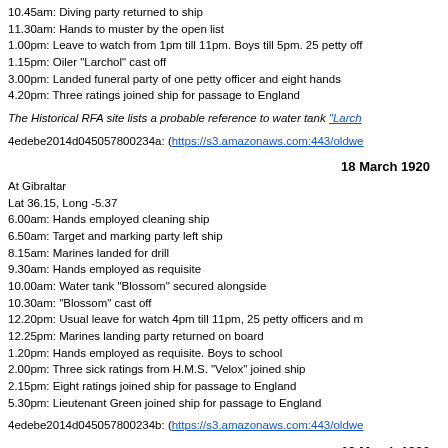10.45am: Diving party returned to ship
11.30am: Hands to muster by the open list
1.00pm: Leave to watch from 1pm till 11pm. Boys till 5pm. 25 petty off
1.15pm: Oiler "Larchol" cast off
3.00pm: Landed funeral party of one petty officer and eight hands
4.20pm: Three ratings joined ship for passage to England
The Historical RFA site lists a probable reference to water tank "Larch
4edebe2014d045057800234a: (https://s3.amazonaws.com:443/oldwe
18 March 1920
At Gibraltar
Lat 36.15, Long -5.37
6.00am: Hands employed cleaning ship
6.50am: Target and marking party left ship
8.15am: Marines landed for drill
9.30am: Hands employed as requisite
10.00am: Water tank "Blossom" secured alongside
10.30am: "Blossom" cast off
12.20pm: Usual leave for watch 4pm till 11pm, 25 petty officers and m
12.25pm: Marines landing party returned on board
1.20pm: Hands employed as requisite. Boys to school
2.00pm: Three sick ratings from H.M.S. "Velox" joined ship
2.15pm: Eight ratings joined ship for passage to England
5.30pm: Lieutenant Green joined ship for passage to England
4edebe2014d045057800234b: (https://s3.amazonaws.com:443/oldwe
19 March 1920
From Gibraltar to Portland and at Gibraltar